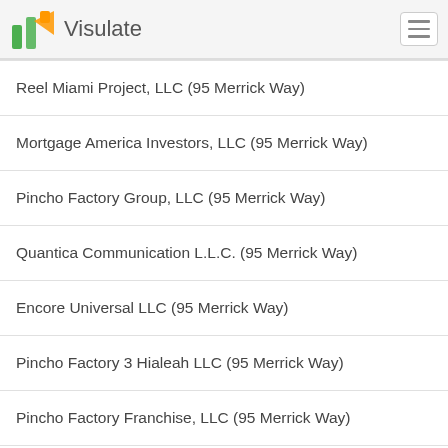Visulate
Reel Miami Project, LLC (95 Merrick Way)
Mortgage America Investors, LLC (95 Merrick Way)
Pincho Factory Group, LLC (95 Merrick Way)
Quantica Communication L.L.C. (95 Merrick Way)
Encore Universal LLC (95 Merrick Way)
Pincho Factory 3 Hialeah LLC (95 Merrick Way)
Pincho Factory Franchise, LLC (95 Merrick Way)
Bermudez Global Company LLC (95 Merrick Way)
Port De Bras LLC (95 Merrick Way)
Slater Construction Company LLC (95 Merrick Way)